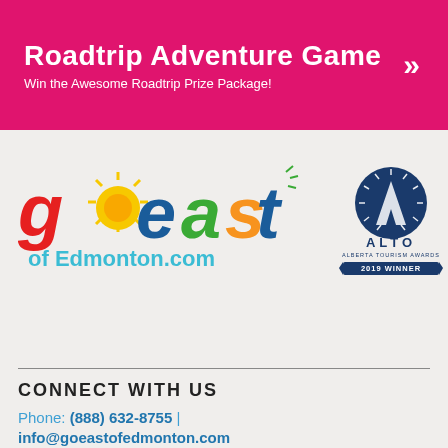Roadtrip Adventure Game
Win the Awesome Roadtrip Prize Package!
[Figure (logo): Go East of Edmonton.com colorful logo]
[Figure (logo): ALTO Alberta Tourism Awards 2019 Winner Marketing Partnership logo]
CONNECT WITH US
Phone: (888) 632-8755 | info@goeastofedmonton.com
[Figure (other): Social media icons: Facebook, YouTube, Instagram, Twitter]